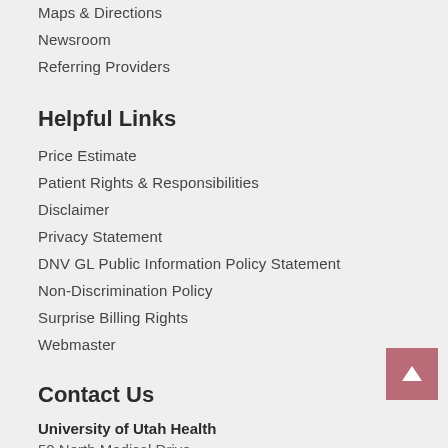Maps & Directions
Newsroom
Referring Providers
Helpful Links
Price Estimate
Patient Rights & Responsibilities
Disclaimer
Privacy Statement
DNV GL Public Information Policy Statement
Non-Discrimination Policy
Surprise Billing Rights
Webmaster
Contact Us
University of Utah Health
50 North Medical Drive